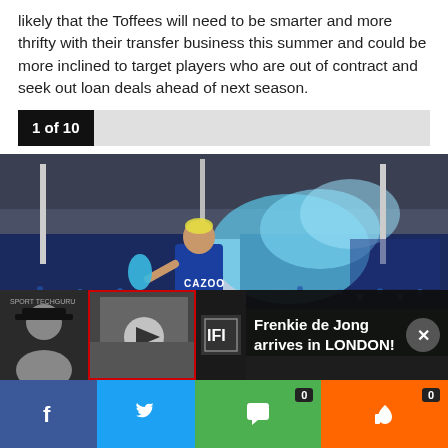likely that the Toffees will need to be smarter and more thrifty with their transfer business this summer and could be more inclined to target players who are out of contract and seek out loan deals ahead of next season.
1 of 10
[Figure (photo): Everton footballer running on pitch holding a blue smoke flare, crowd in background at Goodison Park stadium]
Frenkie de Jong arrives in LONDON!
f
0
0